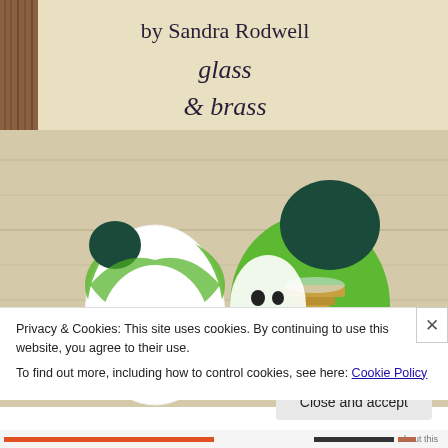[Figure (photo): Top portion of a photograph showing a handwritten label card on a light background. The card reads 'by Sandra Rodwell' in print, and 'glass & brass' in cursive handwriting below. Brown wooden slat texture visible on the left side.]
[Figure (photo): Close-up photograph of glass and brass decorative items/beads. Two panda-like glass objects (white with dark ears and face details with green accents) and a brass-fitted green glass piece with gold/brass hardware on a light wooden surface.]
Privacy & Cookies: This site uses cookies. By continuing to use this website, you agree to their use.
To find out more, including how to control cookies, see here: Cookie Policy